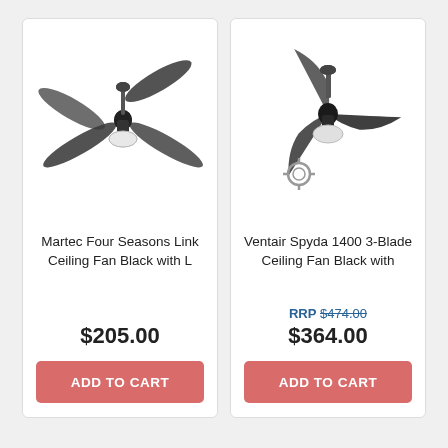[Figure (illustration): 4-blade black ceiling fan with light kit, viewed from slightly above]
Martec Four Seasons Link Ceiling Fan Black with L
$205.00
ADD TO CART
[Figure (illustration): 3-blade black ceiling fan with light kit, viewed from slightly above, with a small remote control icon below]
Ventair Spyda 1400 3-Blade Ceiling Fan Black with
RRP $474.00
$364.00
ADD TO CART